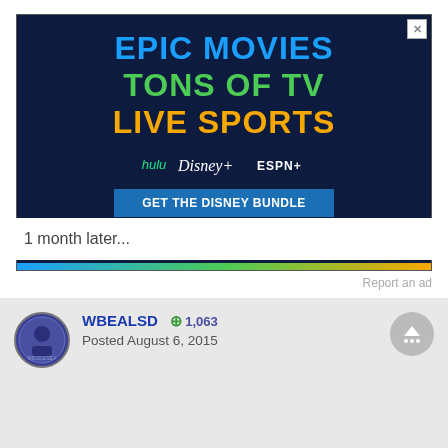[Figure (screenshot): Disney Bundle advertisement banner with dark navy background. Text reads 'EPIC MOVIES' in blue, 'TONS OF TV' in green, 'LIVE SPORTS' in orange/yellow. Shows Hulu, Disney+, and ESPN+ logos. Blue CTA button 'GET THE DISNEY BUNDLE'. Disclaimer text at bottom. Decorative colored stripe at bottom.]
Report an ad
1 month later...
WBEALSD
+1,063
Posted August 6, 2015